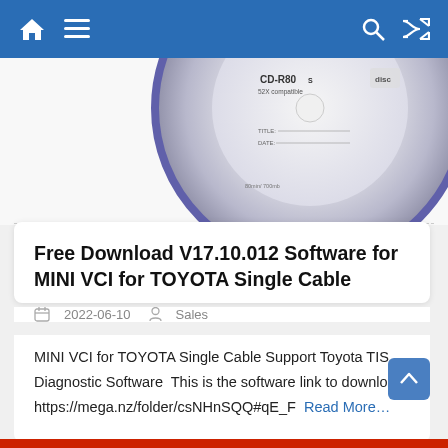Navigation bar with home, menu, search, and shuffle icons
[Figure (photo): Partial top view of a CD-R80S 52X compatible disc on white background]
Free Download V17.10.012 Software for MINI VCI for TOYOTA Single Cable
2022-06-10   Sales
MINI VCI for TOYOTA Single Cable Support Toyota TIS Diagnostic Software  This is the software link to download: https://mega.nz/folder/csNHnSQQ#qE_F   Read More…